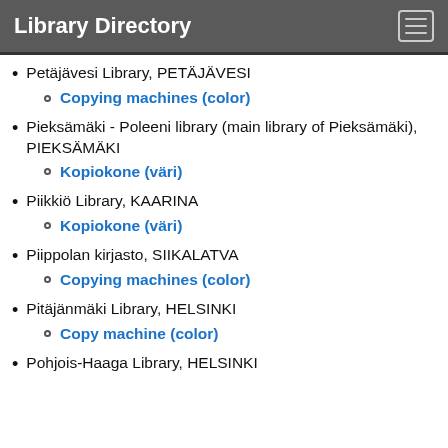Library Directory
Petäjävesi Library, PETÄJÄVESI
Copying machines (color)
Pieksämäki - Poleeni library (main library of Pieksämäki), PIEKSÄMÄKI
Kopiokone (väri)
Piikkiö Library, KAARINA
Kopiokone (väri)
Piippolan kirjasto, SIIKALATVA
Copying machines (color)
Pitäjänmäki Library, HELSINKI
Copy machine (color)
Pohjois-Haaga Library, HELSINKI